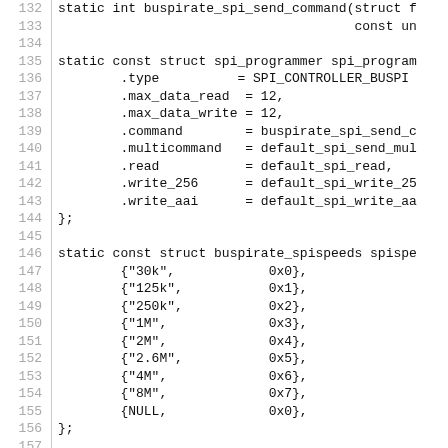[Figure (screenshot): Source code screenshot showing C code for Bus Pirate SPI programmer, lines 132-161, including function declarations, struct definitions with SPI controller fields, spispeeds array with hex values, and shutdown function beginning.]